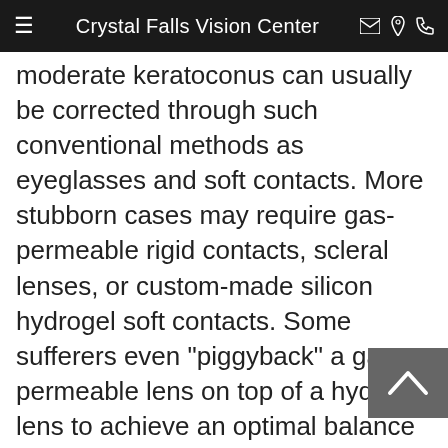Crystal Falls Vision Center
moderate keratoconus can usually be corrected through such conventional methods as eyeglasses and soft contacts. More stubborn cases may require gas-permeable rigid contacts, scleral lenses, or custom-made silicon hydrogel soft contacts. Some sufferers even "piggyback" a gas permeable lens on top of a hydrogel lens to achieve an optimal balance between vision accuracy and comfort.
Traditional laser surgeries such as LASIK are not usually recommended for keratoconus patients, but other types of structural correction may provide the desired vision correction. Intacs, tiny corneal inserts implanted just below the corneal surface to